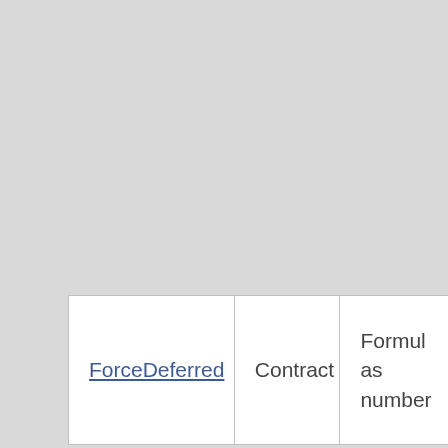| ForceDeferred | Contract | Formula as number... |
| --- | --- | --- |
| ForceDeferred | Contract | Formula as number... |